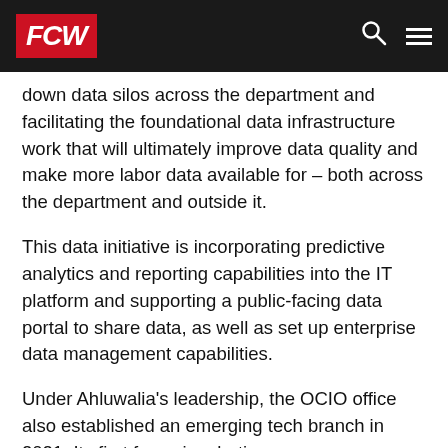FCW
down data silos across the department and facilitating the foundational data infrastructure work that will ultimately improve data quality and make more labor data available for – both across the department and outside it.
This data initiative is incorporating predictive analytics and reporting capabilities into the IT platform and supporting a public-facing data portal to share data, as well as set up enterprise data management capabilities.
Under Ahluwalia's leadership, the OCIO office also established an emerging tech branch in 2021. Its first focus is robotics process automation bots, meant to cut down the amount of time spent on repetitive tasks. The OCIO says that it has an eye on more investment in automation, AI and machine learning.
All of this took place while Ahluwalia also oversaw multiple other